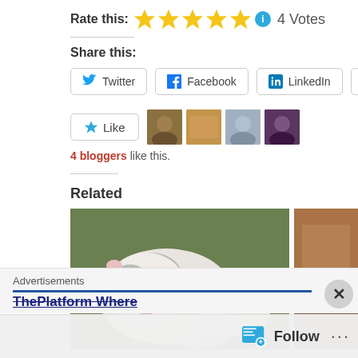Rate this: ★★★★★ ⓘ 4 Votes
Share this:
Twitter  Facebook  LinkedIn  Pinterest
Like  [4 blogger avatars]
4 bloggers like this.
Related
[Figure (photo): White and grey guinea pig with flowers]
[Figure (photo): Partially visible warm-toned animal photo]
Advertisements
ThePlatform Where...
Follow  ...